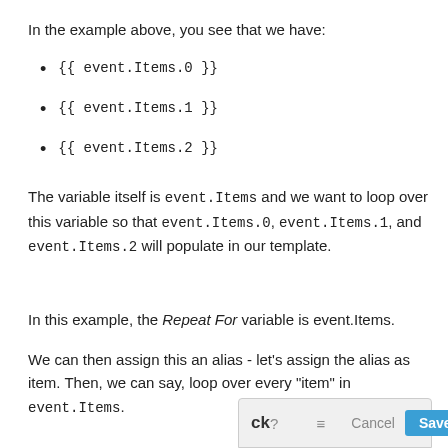In the example above, you see that we have:
{{ event.Items.0 }}
{{ event.Items.1 }}
{{ event.Items.2 }}
The variable itself is event.Items and we want to loop over this variable so that event.Items.0, event.Items.1, and event.Items.2 will populate in our template.
In this example, the Repeat For variable is event.Items.
We can then assign this an alias - let's assign the alias as item. Then, we can say, loop over every "item" in event.Items.